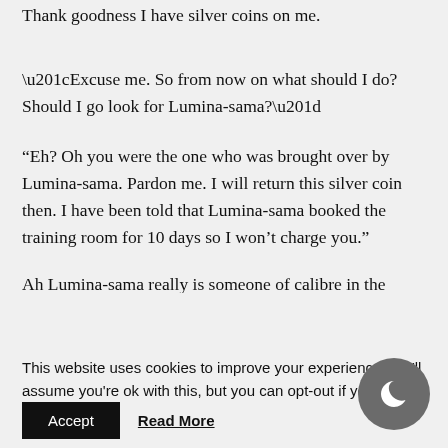Thank goodness I have silver coins on me.
“Excuse me. So from now on what should I do? Should I go look for Lumina-sama?”
“Eh? Oh you were the one who was brought over by Lumina-sama. Pardon me. I will return this silver coin then. I have been told that Lumina-sama booked the training room for 10 days so I won’t charge you.”
Ah Lumina-sama really is someone of calibre in the
This website uses cookies to improve your experience. We'll assume you're ok with this, but you can opt-out if yo
Accept
Read More